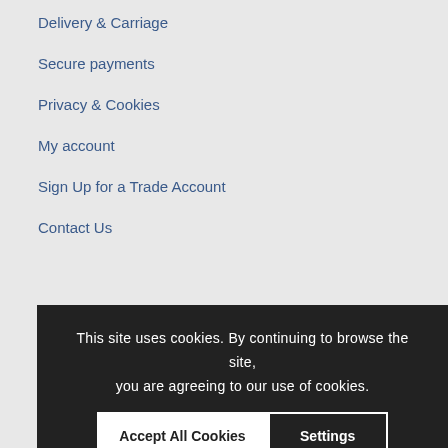Delivery & Carriage
Secure payments
Privacy & Cookies
My account
Sign Up for a Trade Account
Contact Us
This site uses cookies. By continuing to browse the site, you are agreeing to our use of cookies.
Accept All Cookies | Settings
© Copyright Du... 2025 | ... | By Think Sur...
Sitemap   Co...   ...a Trade Account
Contact Us